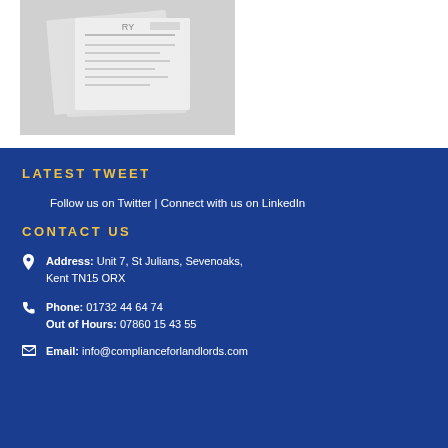[Figure (photo): Close-up photograph of documents or legal papers, slightly blurred, showing text and pages stacked together]
LATEST TWEET
Follow us on Twitter | Connect with us on LinkedIn
CONTACT US
Address: Unit 7, St Julians, Sevenoaks, Kent TN15 ORX
Phone: 01732 44 64 74
Out of Hours: 07860 15 43 55
Email: info@complianceforlandlords.com